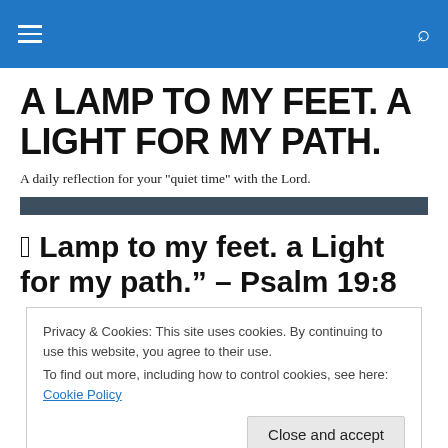A LAMP TO MY FEET. A LIGHT FOR MY PATH.
A LAMP TO MY FEET. A LIGHT FOR MY PATH.
A daily reflection for your "quiet time" with the Lord.
“a Lamp to my feet. a Light for my path.” – Psalm 19:8
Privacy & Cookies: This site uses cookies. By continuing to use this website, you agree to their use.
To find out more, including how to control cookies, see here: Cookie Policy
Close and accept
[Figure (photo): Bottom strip showing a partial photo, appears to be a flower or decorative object]